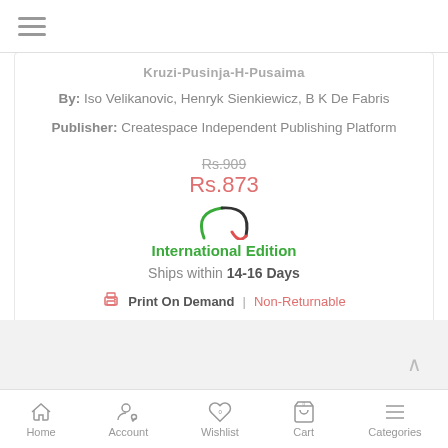≡ (hamburger menu)
Kruzi-Pusinja-H-Pusaima
By: Iso Velikanovic, Henryk Sienkiewicz, B K De Fabris
Publisher: Createspace Independent Publishing Platform
Rs.909
Rs.873
[Figure (other): Loading spinner animation (green and dark arc)]
International Edition
Ships within 14-16 Days
Print On Demand  |  Non-Returnable
Buy Now
Add to Wishlist
Home   Account   Wishlist   Cart   Categories